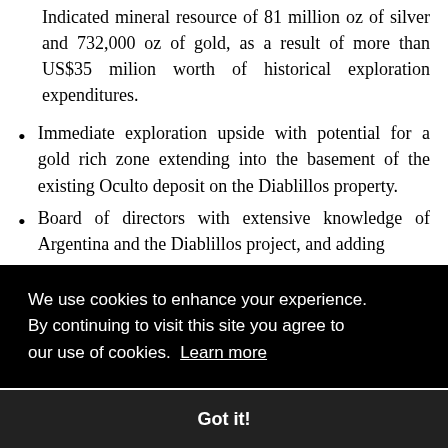Indicated mineral resource of 81 million oz of silver and 732,000 oz of gold, as a result of more than US$35 milion worth of historical exploration expenditures.
Immediate exploration upside with potential for a gold rich zone extending into the basement of the existing Oculto deposit on the Diablillos property.
Board of directors with extensive knowledge of Argentina and the Diablillos project, and adding [partial text obscured by cookie overlay]
The execution of the Definitive Agreement follows [partial, cut off at bottom]